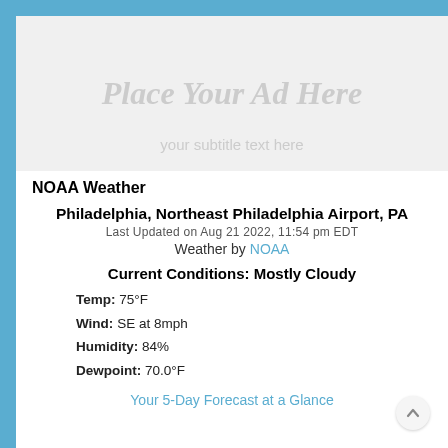[Figure (other): Ad placeholder box with light gray background and italic text 'Place Your Ad Here' in large gray font, with smaller gray subtext below]
NOAA Weather
Philadelphia, Northeast Philadelphia Airport, PA
Last Updated on Aug 21 2022, 11:54 pm EDT
Weather by NOAA
Current Conditions: Mostly Cloudy
Temp: 75°F
Wind: SE at 8mph
Humidity: 84%
Dewpoint: 70.0°F
Your 5-Day Forecast at a Glance